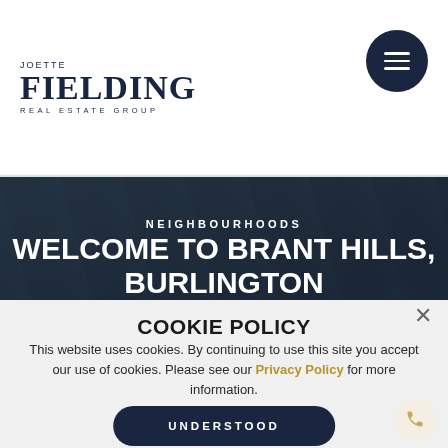[Figure (logo): Joette Fielding Real Estate Group logo with stylized serif text]
[Figure (other): Dark circular hamburger menu button with three horizontal white lines]
[Figure (photo): Dark background hero image with bare tree branches overlay]
NEIGHBOURHOODS
WELCOME TO BRANT HILLS, BURLINGTON
COOKIE POLICY
This website uses cookies. By continuing to use this site you accept our use of cookies. Please see our Privacy Policy for more information.
UNDERSTOOD
Looking to purchase a home in Brant Hills, Burlington? We provide valuable information and comparative market analysis in order to prepare the offer to purchase and negotiate the best possible terms to protect your best interests.